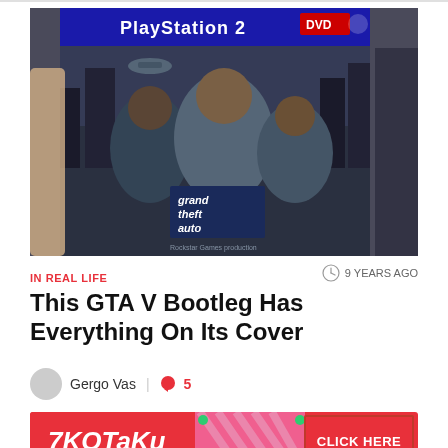[Figure (photo): A hand holding a bootleg PlayStation 2 DVD case showing Grand Theft Auto V artwork with the GTA V characters on the cover, PS2 branding at the top]
IN REAL LIFE
9 YEARS AGO
This GTA V Bootleg Has Everything On Its Cover
Gergo Vas | 5
[Figure (infographic): Kotaku advertisement banner with pink/red background, Kotaku logo on left and CLICK HERE button on right with diagonal stripe pattern in middle]